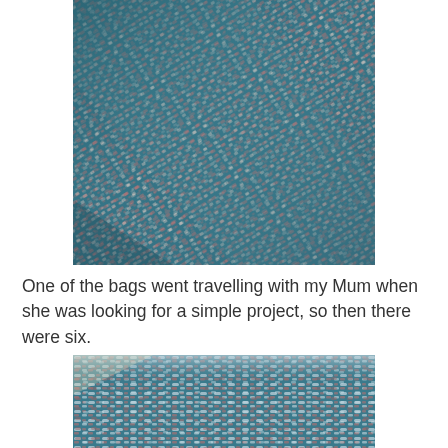[Figure (photo): Close-up photo of woven fabric with teal/blue background and pink/white diagonal woven pattern, photographed at an angle]
One of the bags went travelling with my Mum when she was looking for a simple project, so then there were six.
[Figure (photo): Close-up photo of woven fabric with teal/blue background and pink/white horizontal woven pattern, partially cropped at bottom]